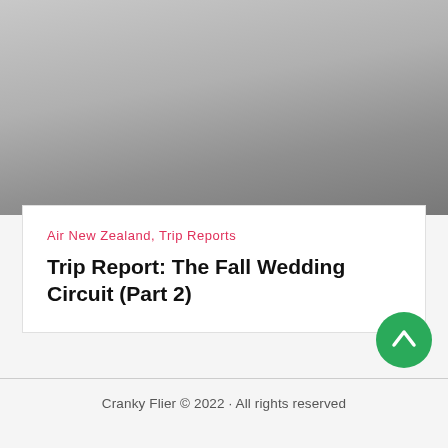[Figure (photo): Gray gradient hero image placeholder at the top of the article card]
Air New Zealand, Trip Reports
Trip Report: The Fall Wedding Circuit (Part 2)
Cranky Flier © 2022 · All rights reserved